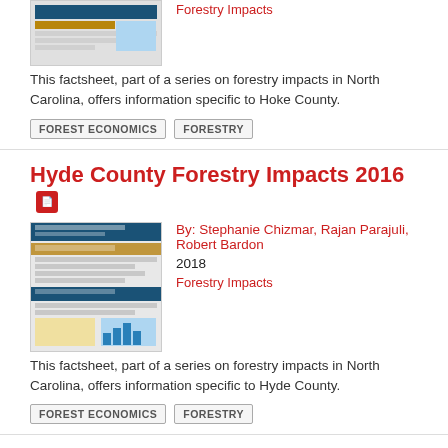Forestry Impacts
This factsheet, part of a series on forestry impacts in North Carolina, offers information specific to Hoke County.
FOREST ECONOMICS
FORESTRY
Hyde County Forestry Impacts 2016
By: Stephanie Chizmar, Rajan Parajuli, Robert Bardon
2018
Forestry Impacts
[Figure (illustration): Thumbnail of forestry impacts factsheet document]
This factsheet, part of a series on forestry impacts in North Carolina, offers information specific to Hyde County.
FOREST ECONOMICS
FORESTRY
Johnston County Forestry Impacts